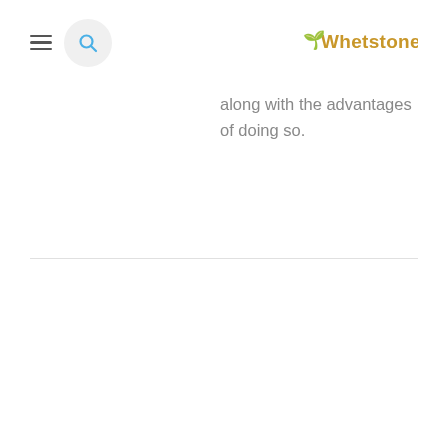Navigation header with hamburger menu, search button, and Whetstone logo
along with the advantages of doing so.